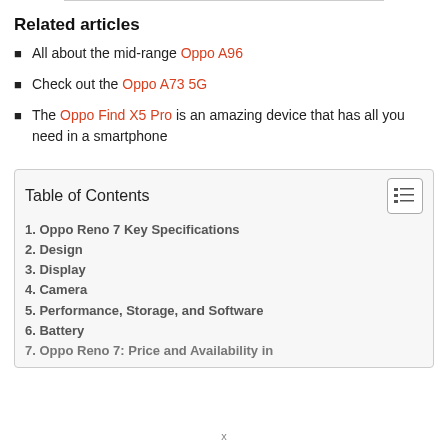Related articles
All about the mid-range Oppo A96
Check out the Oppo A73 5G
The Oppo Find X5 Pro is an amazing device that has all you need in a smartphone
| 1. Oppo Reno 7 Key Specifications |
| 2. Design |
| 3. Display |
| 4. Camera |
| 5. Performance, Storage, and Software |
| 6. Battery |
| 7. Oppo Reno 7: Price and Availability in |
x